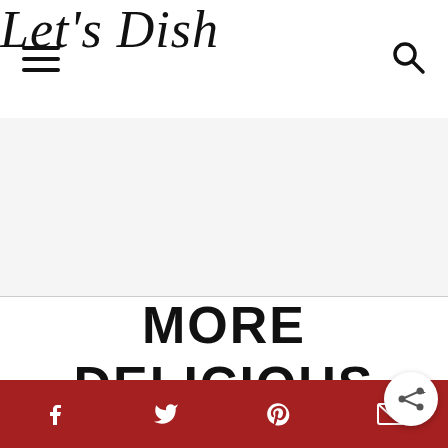Let's Dish
[Figure (other): Grey advertisement/banner placeholder area]
MORE DELICIOUS SAUCES AND CONDIMENTS
Social share bar with Facebook, Twitter, Pinterest, Email, and share icons